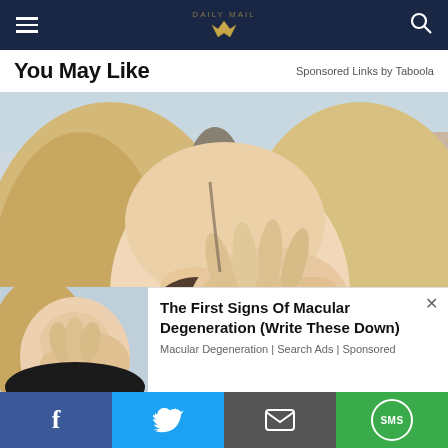You May Like — Sponsored Links by Taboola
[Figure (photo): Blonde woman rubbing her eye with her hand, looking distressed, outdoors blurred background]
[Figure (photo): Smaller thumbnail of same woman rubbing her eye]
The First Signs Of Macular Degeneration (Write These Down)
Macular Degeneration | Search Ads | Sponsored